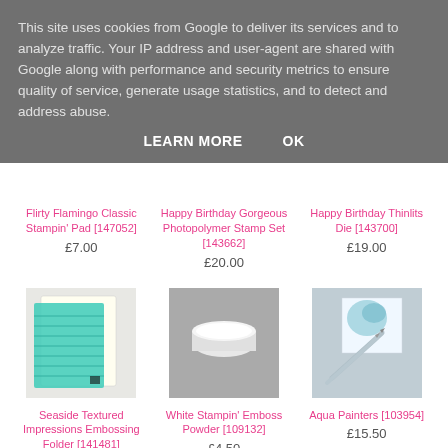This site uses cookies from Google to deliver its services and to analyze traffic. Your IP address and user-agent are shared with Google along with performance and security metrics to ensure quality of service, generate usage statistics, and to detect and address abuse.
LEARN MORE    OK
Flirty Flamingo Classic Stampin' Pad [147052]
£7.00
Happy Birthday Gorgeous Photopolymer Stamp Set [143662]
£20.00
Happy Birthday Thinlits Die [143700]
£19.00
[Figure (photo): Teal/turquoise embossing folder sheets on white background]
Seaside Textured Impressions Embossing Folder [141481]
[Figure (photo): White round embossing powder container on grey background]
White Stampin' Emboss Powder [109132]
£4.50
[Figure (photo): Aqua painters brushes with watercolor on grey background]
Aqua Painters [103954]
£15.50